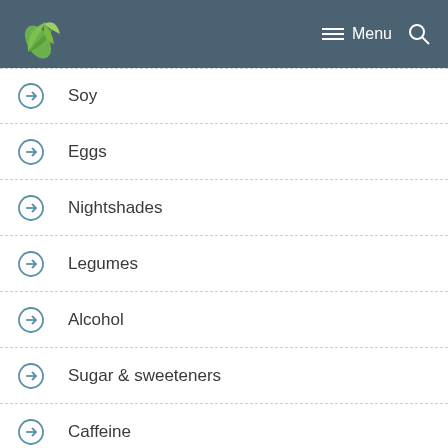Menu
Soy
Eggs
Nightshades
Legumes
Alcohol
Sugar & sweeteners
Caffeine
Chocolate
Nuts & seeds